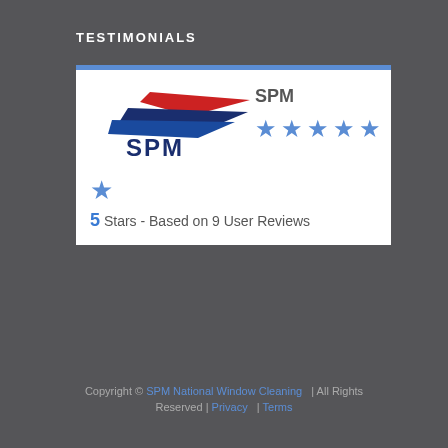TESTIMONIALS
[Figure (logo): SPM company logo with red and blue swoosh design above the text SPM, alongside a 4.5-star rating display showing SPM name and 5 blue stars plus one additional star, with text '5 Stars - Based on 9 User Reviews']
Copyright © SPM National Window Cleaning | All Rights Reserved | Privacy | Terms